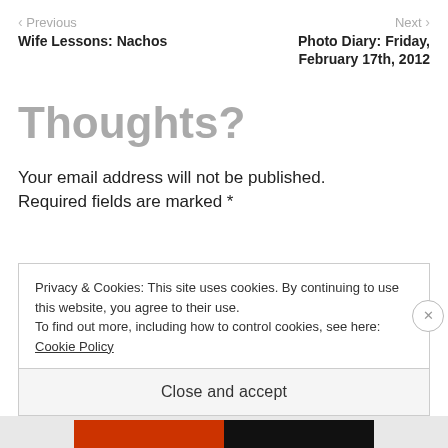< Previous | Next >
Wife Lessons: Nachos
Photo Diary: Friday, February 17th, 2012
Thoughts?
Your email address will not be published. Required fields are marked *
Privacy & Cookies: This site uses cookies. By continuing to use this website, you agree to their use.
To find out more, including how to control cookies, see here: Cookie Policy

Close and accept